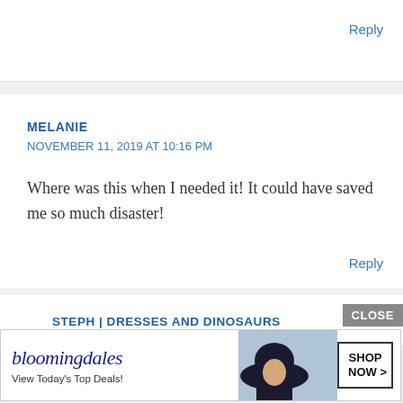Reply
MELANIE
NOVEMBER 11, 2019 AT 10:16 PM
Where was this when I needed it! It could have saved me so much disaster!
Reply
STEPH | DRESSES AND DINOSAURS
NOVEMBER 12, 2019 AT 6:08 AM
[Figure (screenshot): Bloomingdale's advertisement banner with logo, tagline 'View Today's Top Deals!' and a woman in a dark hat, with a 'SHOP NOW >' button and a CLOSE button overlay.]